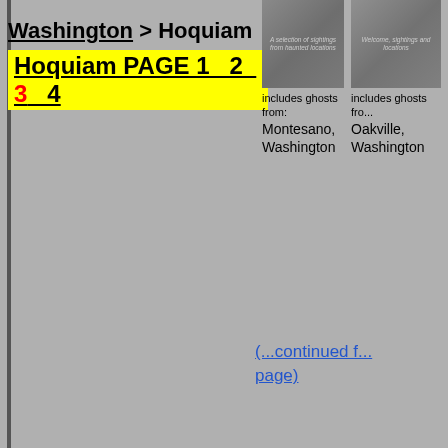Washington > Hoquiam
Hoquiam PAGE 1  2  3  4
[Figure (photo): Thumbnail image of a cemetery or memorial with text overlay, related to Montesano Washington ghosts]
includes ghosts from: Montesano, Washington
[Figure (photo): Thumbnail image of a cemetery or memorial with text overlay, related to Oakville Washington ghosts]
includes ghosts from: Oakville, Washington
(...continued from previous page)